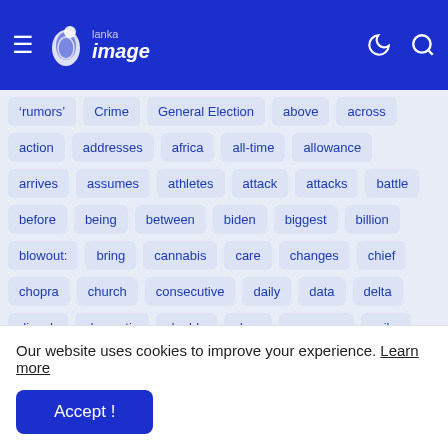Lanka Image — navigation header
‘rumors’
Crime
General Election
above
across
action
addresses
africa
all-time
allowance
arrives
assumes
athletes
attack
attacks
battle
before
being
between
biden
biggest
billion
blowout:
bring
cannabis
care
changes
chief
chopra
church
consecutive
daily
data
delta
dinesh
domestic
double
drug
economy
erika
expert
extended
florida
Our website uses cookies to improve your experience. Learn more
Accept !